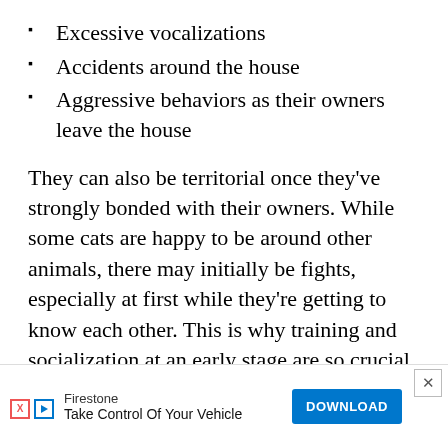Excessive vocalizations
Accidents around the house
Aggressive behaviors as their owners leave the house
They can also be territorial once they’ve strongly bonded with their owners. While some cats are happy to be around other animals, there may initially be fights, especially at first while they’re getting to know each other. This is why training and socialization at an early stage are so crucial.
If you’re planning to get a Flame Point Siamese cat as a pet, consider how much time you have to spend with it...